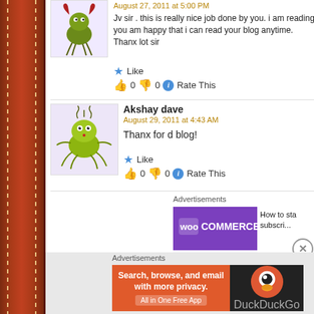August 27, 2011 at 5:00 PM
Jv sir . this is really nice job done by you. i am reading you am happy that i can read your blog anytime. Thanx lot sir
Like
0  0  Rate This
Akshay dave
August 29, 2011 at 4:43 AM
Thanx for d blog!
Like
0  0  Rate This
Advertisements
[Figure (screenshot): WooCommerce purple banner advertisement with green arrow]
How to sta subscri...
Advertisements
[Figure (screenshot): DuckDuckGo advertisement: Search, browse, and email with more privacy. All in One Free App]